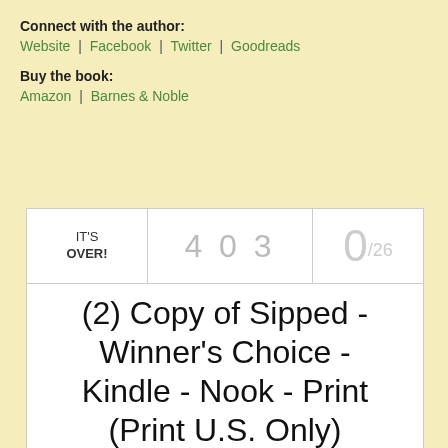Connect with the author: Website | Facebook | Twitter | Goodreads
Buy the book: Amazon | Barnes & Noble
| Status | Entries | Winners |
| --- | --- | --- |
| IT'S OVER! | 4 0 3 | 0/26 |
(2) Copy of Sipped - Winner's Choice - Kindle - Nook - Print (Print U.S. Only)